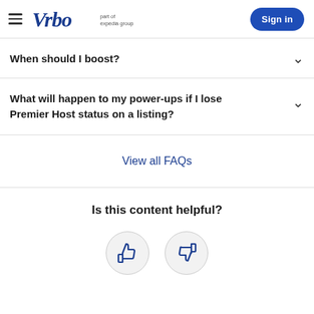Vrbo part of expedia group | Sign in
When should I boost?
What will happen to my power-ups if I lose Premier Host status on a listing?
View all FAQs
Is this content helpful?